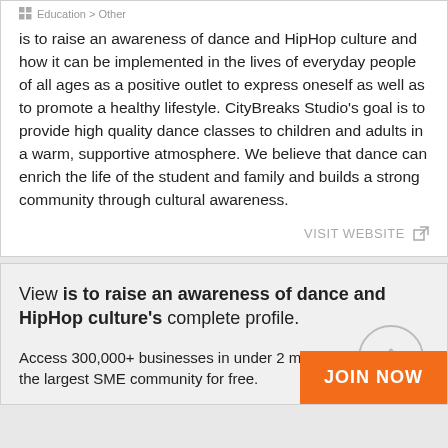Education > Other
is to raise an awareness of dance and HipHop culture and how it can be implemented in the lives of everyday people of all ages as a positive outlet to express oneself as well as to promote a healthy lifestyle. CityBreaks Studio's goal is to provide high quality dance classes to children and adults in a warm, supportive atmosphere. We believe that dance can enrich the life of the student and family and builds a strong community through cultural awareness.
VISIT WEBSITE
View is to raise an awareness of dance and HipHop culture's complete profile.
Access 300,000+ businesses in under 2 mins. Join the largest SME community for free.
JOIN NOW